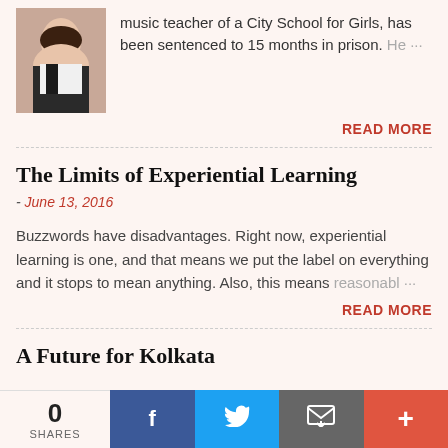music teacher of a City School for Girls, has been sentenced to 15 months in prison. He…
READ MORE
The Limits of Experiential Learning
- June 13, 2016
Buzzwords have disadvantages. Right now, experiential learning is one, and that means we put the label on everything and it stops to mean anything. Also, this means reasonabl…
READ MORE
A Future for Kolkata
0 SHARES | Facebook | Twitter | Email | +